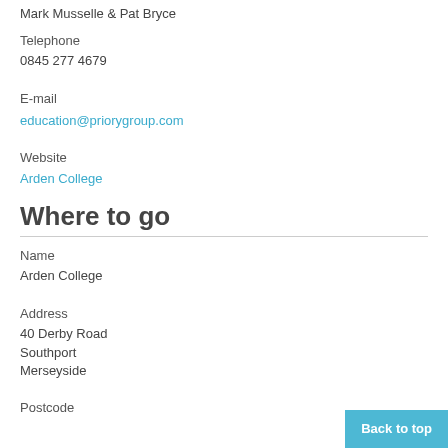Mark Musselle & Pat Bryce
Telephone
0845 277 4679
E-mail
education@priorygroup.com
Website
Arden College
Where to go
Name
Arden College
Address
40 Derby Road
Southport
Merseyside
Postcode